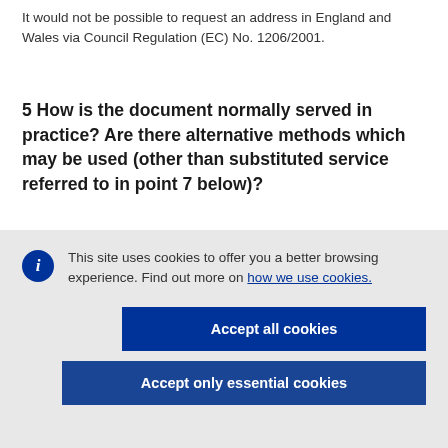It would not be possible to request an address in England and Wales via Council Regulation (EC) No. 1206/2001.
5 How is the document normally served in practice? Are there alternative methods which may be used (other than substituted service referred to in point 7 below)?
This site uses cookies to offer you a better browsing experience. Find out more on how we use cookies.
Accept all cookies
Accept only essential cookies